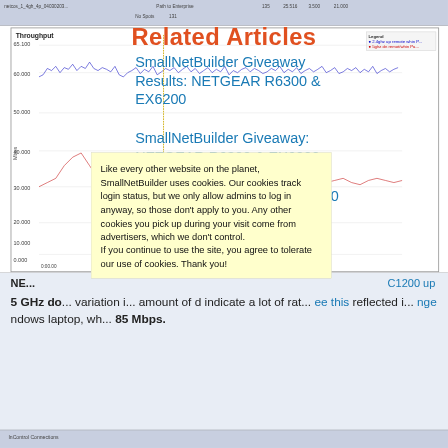Related Articles
[Figure (screenshot): Browser screenshot showing a throughput/network performance chart with blue and red line traces, y-axis labeled Mbps with values from 0 to 65,000, and a legend panel on the right side.]
SmallNetBuilder Giveaway Results: NETGEAR R6300 & EX6200
SmallNetBuilder Giveaway: NETGEAR R6300 & EX6200
C750
C1200 up
NE... (NETGEAR label)
5 GHz do... variation i... a lot of rat... reflected i... laptop, wh... 85 Mbps.
Like every other website on the planet, SmallNetBuilder uses cookies. Our cookies track login status, but we only allow admins to log in anyway, so those don't apply to you. Any other cookies you pick up during your visit come from advertisers, which we don't control.
If you continue to use the site, you agree to tolerate our use of cookies. Thank you!